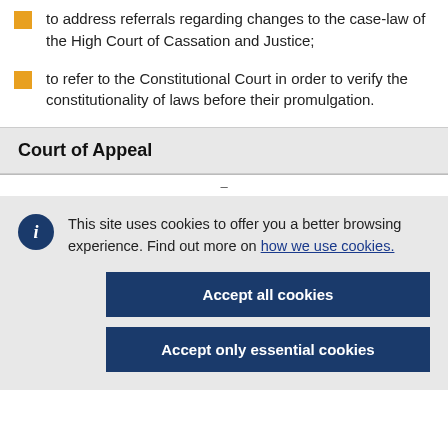to address referrals regarding changes to the case-law of the High Court of Cassation and Justice;
to refer to the Constitutional Court in order to verify the constitutionality of laws before their promulgation.
Court of Appeal
This site uses cookies to offer you a better browsing experience. Find out more on how we use cookies.
Accept all cookies
Accept only essential cookies